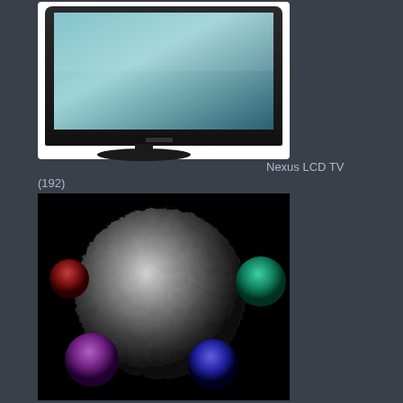[Figure (illustration): Nexus LCD TV product photo showing a flat screen television with black bezel on a stand, screen showing light blue gradient]
Nexus LCD TV
(192)
[Figure (illustration): 3D rendered image of metallic textured spheres/planets on black background - large silver bumpy sphere in center, smaller colored spheres in red, teal/green, purple, and blue around it]